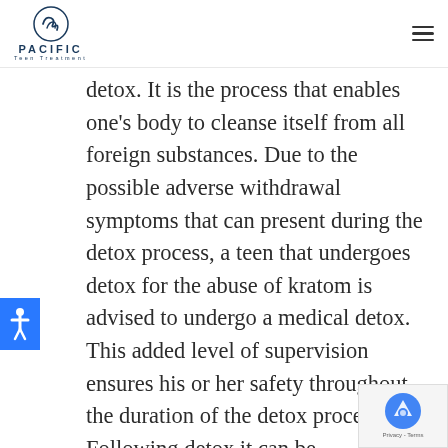PACIFIC Teen Treatment
detox. It is the process that enables one's body to cleanse itself from all foreign substances. Due to the possible adverse withdrawal symptoms that can present during the detox process, a teen that undergoes detox for the abuse of kratom is advised to undergo a medical detox. This added level of supervision ensures his or her safety throughout the duration of the detox process. Following detox it can be advantageous for a teen to continue his or her recovery by attending a substance abuse and/ or
[Figure (logo): Pacific Teen Treatment logo with circular wave emblem and text PACIFIC Teen Treatment]